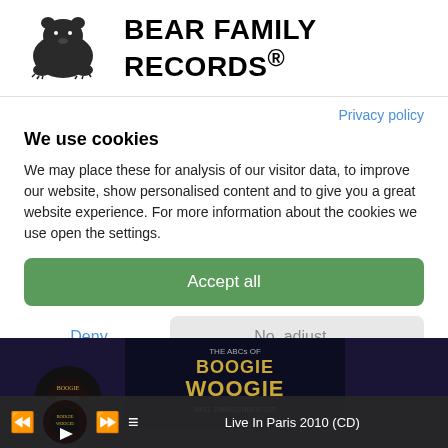[Figure (logo): Bear Family Records logo: bear illustration with text BEAR FAMILY RECORDS®]
Privacy policy
We use cookies
We may place these for analysis of our visitor data, to improve our website, show personalised content and to give you a great website experience. For more information about the cookies we use open the settings.
Accept all
Deny
No, adjust...
[Figure (screenshot): Bottom strip showing Boogie Woogie album artwork and a media player bar with controls and text 'Live In Paris 2010 (CD)']